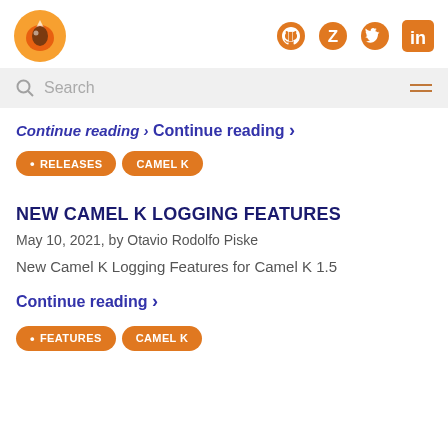[Figure (logo): Apache Camel orange fox logo circle and social media icons (GitHub, Zulip, Twitter, LinkedIn)]
Search
Continue reading ›
• RELEASES   CAMEL K
NEW CAMEL K LOGGING FEATURES
May 10, 2021, by Otavio Rodolfo Piske
New Camel K Logging Features for Camel K 1.5
Continue reading ›
• FEATURES   CAMEL K